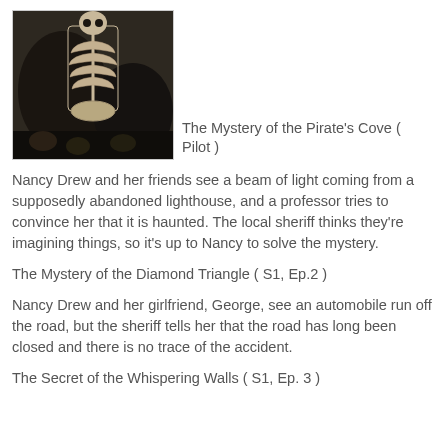[Figure (photo): A skeleton displayed in a dark cave-like setting, showing rib cage and skull]
The Mystery of the Pirate's Cove ( Pilot )
Nancy Drew and her friends see a beam of light coming from a supposedly abandoned lighthouse, and a professor tries to convince her that it is haunted. The local sheriff thinks they're imagining things, so it's up to Nancy to solve the mystery.
The Mystery of the Diamond Triangle ( S1, Ep.2 )
Nancy Drew and her girlfriend, George, see an automobile run off the road, but the sheriff tells her that the road has long been closed and there is no trace of the accident.
The Secret of the Whispering Walls ( S1, Ep. 3 )